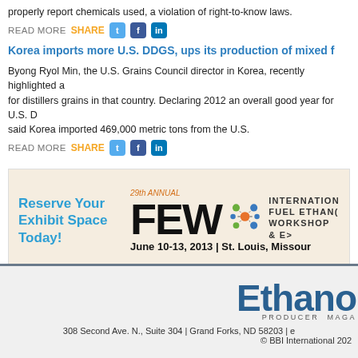properly report chemicals used, a violation of right-to-know laws.
READ MORE  SHARE
Korea imports more U.S. DDGS, ups its production of mixed f
Byong Ryol Min, the U.S. Grains Council director in Korea, recently highlighted a for distillers grains in that country. Declaring 2012 an overall good year for U.S. D said Korea imported 469,000 metric tons from the U.S.
READ MORE  SHARE
[Figure (infographic): Advertisement banner for 29th Annual FEW - International Fuel Ethanol Workshop & Expo, June 10-13 2013, St. Louis Missouri. Features 'Reserve Your Exhibit Space Today!' text on left, FEW logo with molecular graphic in center-right.]
Ethanol Producer Magazine. 308 Second Ave. N., Suite 304 | Grand Forks, ND 58203 | e... © BBI International 202...